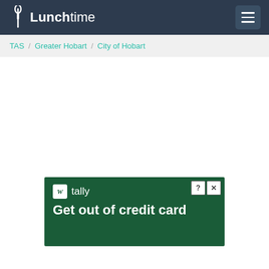Lunchtime
TAS / Greater Hobart / City of Hobart
[Figure (screenshot): Tally advertisement banner: green background with Tally logo and text 'Get out of credit card']